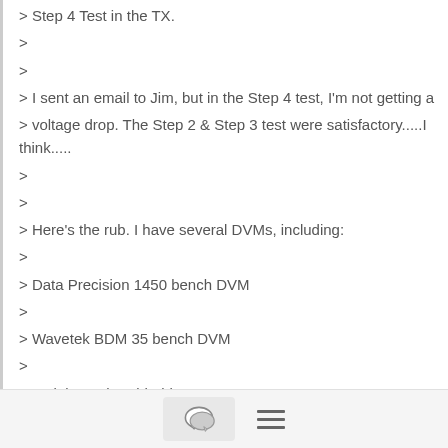> Step 4 Test in the TX.
>
>
> I sent an email to Jim, but in the Step 4 test, I'm not getting a
> voltage drop. The Step 2 & Step 3 test were satisfactory.....I think.....
>
>
> Here's the rub. I have several DVMs, including:
>
> Data Precision 1450 bench DVM
>
> Wavetek BDM 35 bench DVM
>
> 2 Fluke 77 hand-held DVMs
>
> Ideal 61-361 hand-held DVM
>